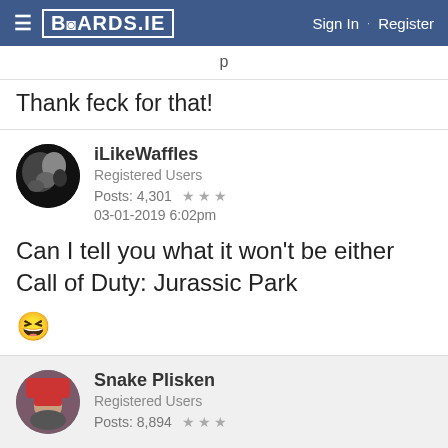BOARDS.IE  Sign In · Register
Thank feck for that!
iLikeWaffles
Registered Users
Posts: 4,301 ★★★
03-01-2019 6:02pm
Can I tell you what it won't be either Call of Duty: Jurassic Park
😄
Snake Plisken
Registered Users
Posts: 8,894 ★★★
Advertisement